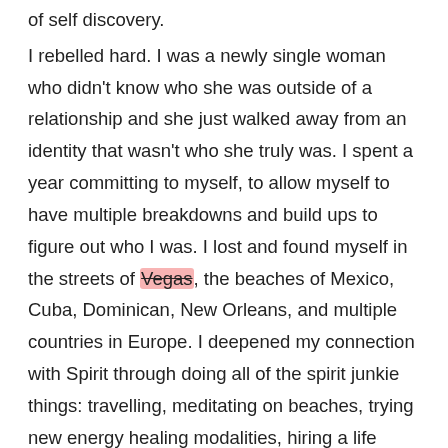of self discovery.

I rebelled hard. I was a newly single woman who didn't know who she was outside of a relationship and she just walked away from an identity that wasn't who she truly was. I spent a year committing to myself, to allow myself to have multiple breakdowns and build ups to figure out who I was. I lost and found myself in the streets of Vegas, the beaches of Mexico, Cuba, Dominican, New Orleans, and multiple countries in Europe. I deepened my connection with Spirit through doing all of the spirit junkie things: travelling, meditating on beaches, trying new energy healing modalities, hiring a life coach. I became drunk on the thrill of personal growth and wanderlust and I fell in love with a foreign heart with a charming Irish accent who I met on a tour bus in Cuba.